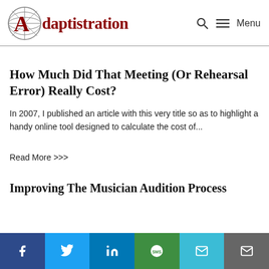Adaptistration — Menu
How Much Did That Meeting (Or Rehearsal Error) Really Cost?
In 2007, I published an article with this very title so as to highlight a handy online tool designed to calculate the cost of...
Read More >>>
Improving The Musician Audition Process